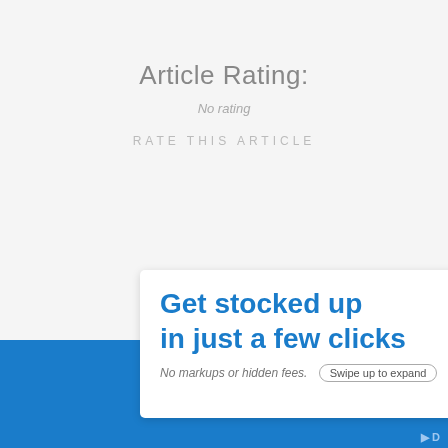Article Rating:
No rating
RATE THIS ARTICLE
[Figure (other): Advertisement banner: 'Get stocked up in just a few clicks. No markups or hidden fees.' with a Swipe up to expand button, close and P buttons, on a blue footer background.]